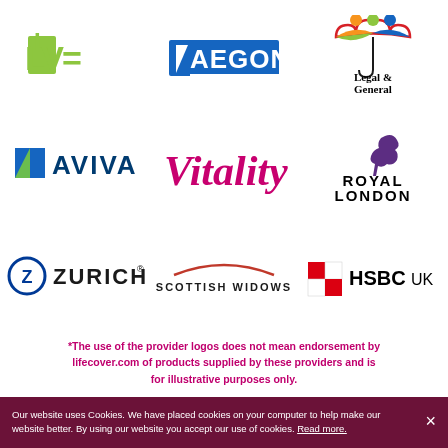[Figure (logo): LV= insurance provider logo in lime green]
[Figure (logo): AEGON insurance provider logo, blue background with white text and triangle]
[Figure (logo): Legal & General insurance provider logo with colourful umbrella]
[Figure (logo): Aviva insurance provider logo with blue square and text]
[Figure (logo): Vitality insurance provider logo in magenta italic script]
[Figure (logo): Royal London insurance provider logo with pelican bird]
[Figure (logo): Zurich insurance provider logo with circle Z and text]
[Figure (logo): Scottish Widows insurance provider logo]
[Figure (logo): HSBC UK insurance provider logo with red and white diamond squares]
*The use of the provider logos does not mean endorsement by lifecover.com of products supplied by these providers and is for illustrative purposes only.
Our website uses Cookies. We have placed cookies on your computer to help make our website better. By using our website you accept our use of cookies. Read more.